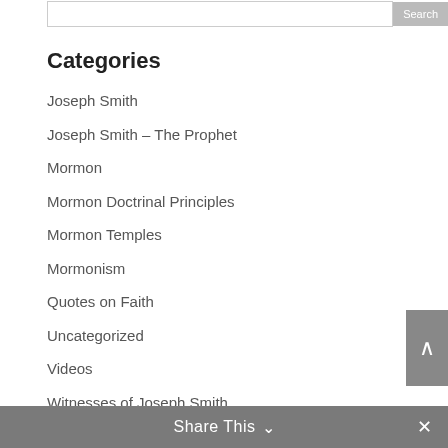Categories
Joseph Smith
Joseph Smith – The Prophet
Mormon
Mormon Doctrinal Principles
Mormon Temples
Mormonism
Quotes on Faith
Uncategorized
Videos
Witnesses of Joseph Smith
Share This ∨  ✕